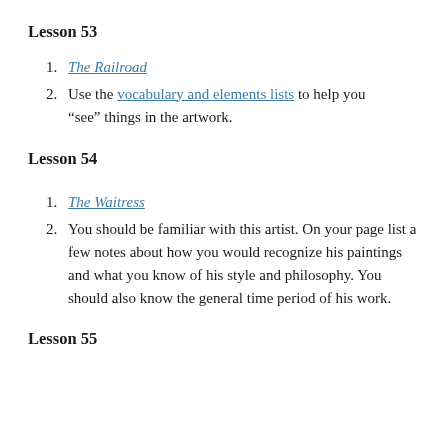Lesson 53
The Railroad
Use the vocabulary and elements lists to help you “see” things in the artwork.
Lesson 54
The Waitress
You should be familiar with this artist. On your page list a few notes about how you would recognize his paintings and what you know of his style and philosophy. You should also know the general time period of his work.
Lesson 55